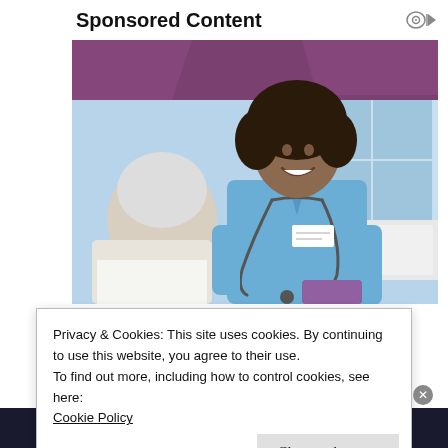Sponsored Content
[Figure (photo): A smiling female nurse in blue scrubs with a stethoscope speaking with an elderly patient in a healthcare setting. Purple curtains visible in the background with a window.]
Privacy & Cookies: This site uses cookies. By continuing to use this website, you agree to their use.
To find out more, including how to control cookies, see here:
Cookie Policy
Close and accept
We all have them!